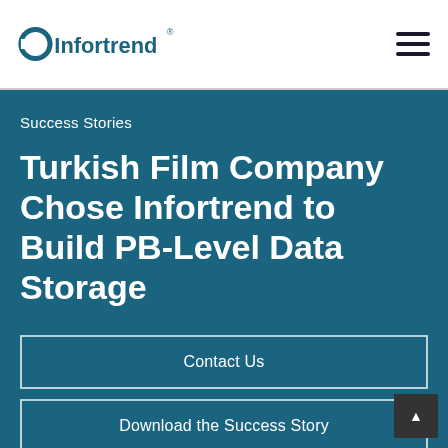Infortrend (logo) with hamburger menu
Success Stories
Turkish Film Company Chose Infortrend to Build PB-Level Data Storage
Contact Us
Download the Success Story